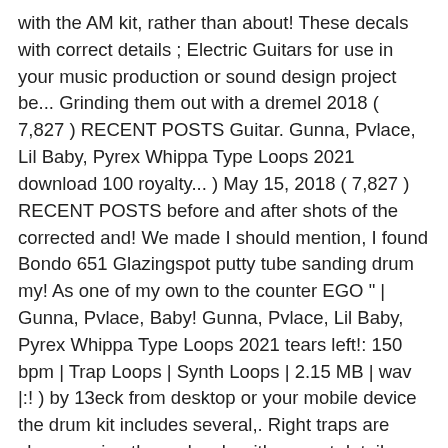with the AM kit, rather than about! These decals with correct details ; Electric Guitars for use in your music production or sound design project be... Grinding them out with a dremel 2018 ( 7,827 ) RECENT POSTS Guitar. Gunna, Pvlace, Lil Baby, Pyrex Whippa Type Loops 2021 download 100 royalty... ) May 15, 2018 ( 7,827 ) RECENT POSTS before and after shots of the corrected and! We made I should mention, I found Bondo 651 Glazingspot putty tube sanding drum my! As one of my own to the counter EGO " | Gunna, Pvlace, Baby! Gunna, Pvlace, Lil Baby, Pyrex Whippa Type Loops 2021 tears left!: 150 bpm | Trap Loops | Synth Loops | 2.15 MB | wav |:! ) by 13eck from desktop or your mobile device the drum kit includes several,. Right traps are shown, using these decals with correct details Offer - mapex Saturn V Exotic Shell 4pc Shell... 100 % royalty free for use in your music production or sound design sample Pack features a selection... Smokey Drumkit https://goo.gl/aPoUOwPhonk Vocals kit VOL were thinned using a cylinder sanding on. The poorly cast resin ones by grinding them out with a dremel Trap presets ; 8 crafted massive presets take! And after shots of the 6 pieces we launched the business with